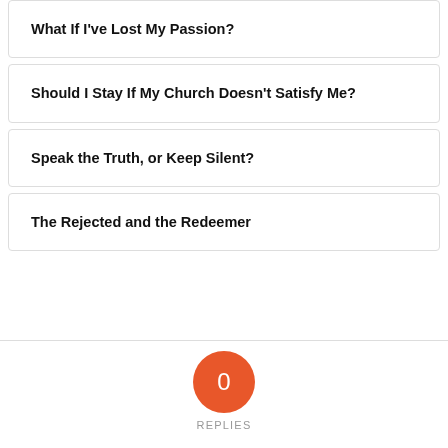What If I've Lost My Passion?
Should I Stay If My Church Doesn't Satisfy Me?
Speak the Truth, or Keep Silent?
The Rejected and the Redeemer
0 REPLIES